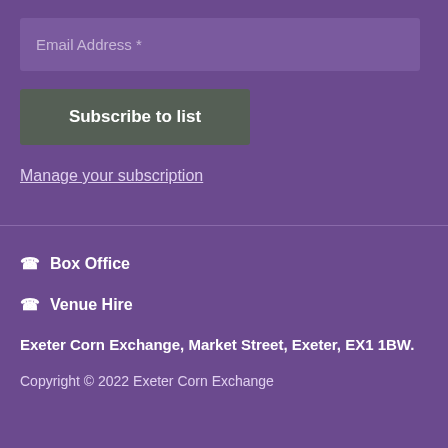Email Address *
Subscribe to list
Manage your subscription
☎ Box Office
☎ Venue Hire
Exeter Corn Exchange, Market Street, Exeter, EX1 1BW.
Copyright © 2022 Exeter Corn Exchange